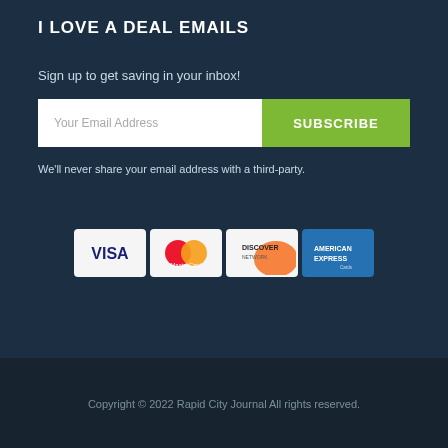I LOVE A DEAL EMAILS
Sign up to get saving in your inbox!
Your Email Address [input field] SUBSCRIBE
We'll never share your email address with a third-party.
[Figure (other): Payment method logos: VISA, MasterCard, Discover, American Express Cards]
Copyright © 2022 Rapid City Journal All rights reserved.